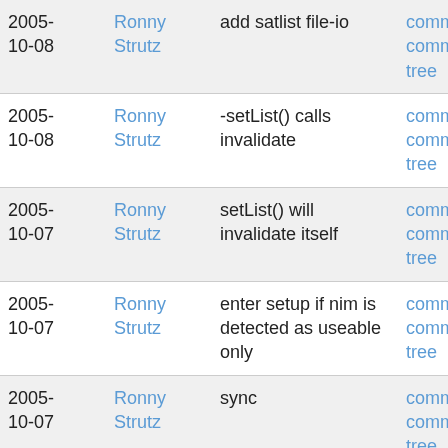| Date | Author | Message | Links |
| --- | --- | --- | --- |
| 2005-10-08 | Ronny Strutz | add satlist file-io | commit | commitdiff | tree |
| 2005-10-08 | Ronny Strutz | -setList() calls invalidate | commit | commitdiff | tree |
| 2005-10-07 | Ronny Strutz | setList() will invalidate itself | commit | commitdiff | tree |
| 2005-10-07 | Ronny Strutz | enter setup if nim is detected as useable only | commit | commitdiff | tree |
| 2005-10-07 | Ronny Strutz | sync | commit | commitdiff | tree |
| 2005-10-07 | Ronny Strutz | added configstuff | commit | commitdiff | tree |